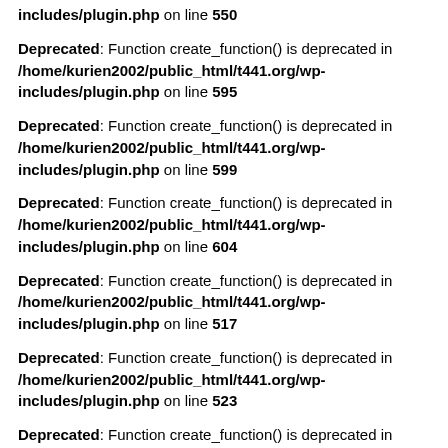includes/plugin.php on line 550
Deprecated: Function create_function() is deprecated in /home/kurien2002/public_html/t441.org/wp-includes/plugin.php on line 595
Deprecated: Function create_function() is deprecated in /home/kurien2002/public_html/t441.org/wp-includes/plugin.php on line 599
Deprecated: Function create_function() is deprecated in /home/kurien2002/public_html/t441.org/wp-includes/plugin.php on line 604
Deprecated: Function create_function() is deprecated in /home/kurien2002/public_html/t441.org/wp-includes/plugin.php on line 517
Deprecated: Function create_function() is deprecated in /home/kurien2002/public_html/t441.org/wp-includes/plugin.php on line 523
Deprecated: Function create_function() is deprecated in /home/kurien2002/public_html/t441.org/wp-includes/plugin.php on line 531